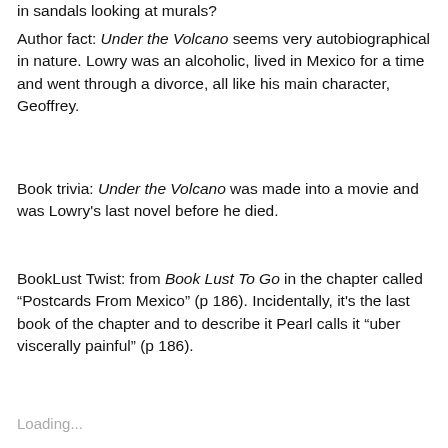in sandals looking at murals?
Author fact: Under the Volcano seems very autobiographical in nature. Lowry was an alcoholic, lived in Mexico for a time and went through a divorce, all like his main character, Geoffrey.
Book trivia: Under the Volcano was made into a movie and was Lowry’s last novel before he died.
BookLust Twist: from Book Lust To Go in the chapter called “Postcards From Mexico” (p 186). Incidentally, it’s the last book of the chapter and to describe it Pearl calls it “uber viscerally painful” (p 186).
Loading...